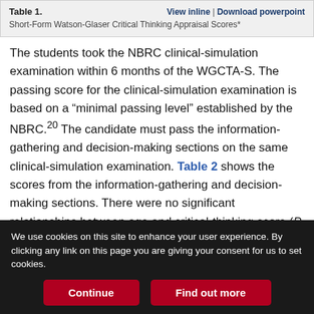Table 1. Short-Form Watson-Glaser Critical Thinking Appraisal Scores*
The students took the NBRC clinical-simulation examination within 6 months of the WGCTA-S. The passing score for the clinical-simulation examination is based on a “minimal passing level” established by the NBRC.20 The candidate must pass the information-gathering and decision-making sections on the same clinical-simulation examination. Table 2 shows the scores from the information-gathering and decision-making sections. There were no significant relationships between age and critical-thinking score (P = .66), critical thinking and information-gathering score (P = .61), or critical thinking and decision-making score (P = .56).
We use cookies on this site to enhance your user experience. By clicking any link on this page you are giving your consent for us to set cookies.